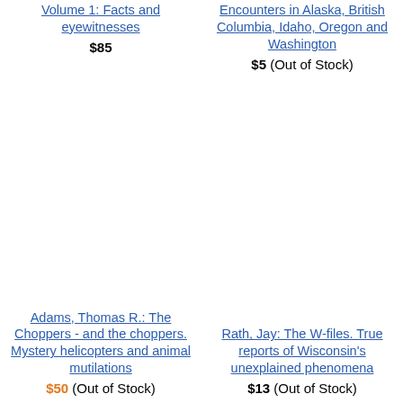Volume 1: Facts and eyewitnesses $85
Encounters in Alaska, British Columbia, Idaho, Oregon and Washington $5 (Out of Stock)
Adams, Thomas R.: The Choppers - and the choppers. Mystery helicopters and animal mutilations $50 (Out of Stock)
Rath, Jay: The W-files. True reports of Wisconsin's unexplained phenomena $13 (Out of Stock)